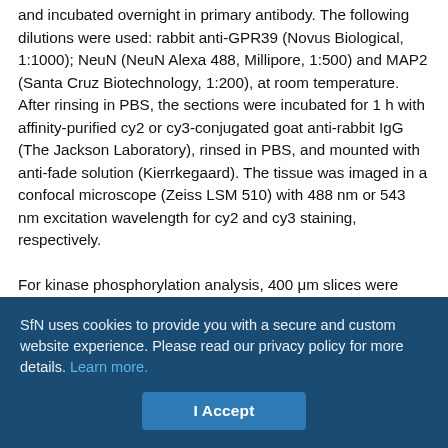and incubated overnight in primary antibody. The following dilutions were used: rabbit anti-GPR39 (Novus Biological, 1:1000); NeuN (NeuN Alexa 488, Millipore, 1:500) and MAP2 (Santa Cruz Biotechnology, 1:200), at room temperature. After rinsing in PBS, the sections were incubated for 1 h with affinity-purified cy2 or cy3-conjugated goat anti-rabbit IgG (The Jackson Laboratory), rinsed in PBS, and mounted with anti-fade solution (Kierrkegaard). The tissue was imaged in a confocal microscope (Zeiss LSM 510) with 488 nm or 543 nm excitation wavelength for cy2 and cy3 staining, respectively.
For kinase phosphorylation analysis, 400 μm slices were incubated with Zn2+ (100 μM for 90 or 180 s). Some slices were pretreated with the Gαq inhibitor (1 μM, YM-254890, 10 min) or the ionotropic
SfN uses cookies to provide you with a secure and custom website experience. Please read our privacy policy for more details. Learn more.